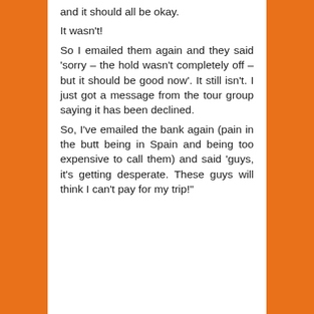and it should all be okay. It wasn't! So I emailed them again and they said 'sorry – the hold wasn't completely off – but it should be good now'. It still isn't. I just got a message from the tour group saying it has been declined. So, I've emailed the bank again (pain in the butt being in Spain and being too expensive to call them) and said 'guys, it's getting desperate. These guys will think I can't pay for my trip!"